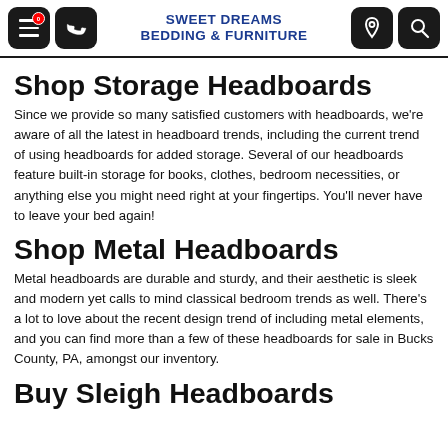SWEET DREAMS BEDDING & FURNITURE
Shop Storage Headboards
Since we provide so many satisfied customers with headboards, we're aware of all the latest in headboard trends, including the current trend of using headboards for added storage. Several of our headboards feature built-in storage for books, clothes, bedroom necessities, or anything else you might need right at your fingertips. You'll never have to leave your bed again!
Shop Metal Headboards
Metal headboards are durable and sturdy, and their aesthetic is sleek and modern yet calls to mind classical bedroom trends as well. There's a lot to love about the recent design trend of including metal elements, and you can find more than a few of these headboards for sale in Bucks County, PA, amongst our inventory.
Buy Sleigh Headboards